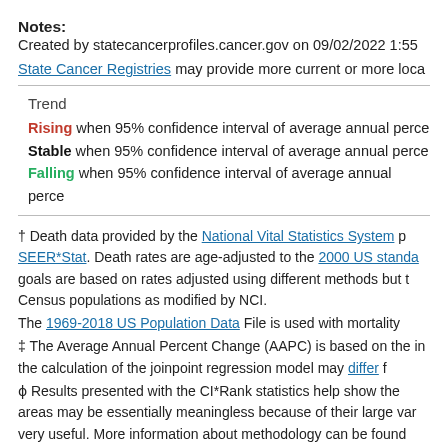Notes:
Created by statecancerprofiles.cancer.gov on 09/02/2022 1:55
State Cancer Registries may provide more current or more loca
Trend
Rising when 95% confidence interval of average annual perce
Stable when 95% confidence interval of average annual perce
Falling when 95% confidence interval of average annual perce
† Death data provided by the National Vital Statistics System p SEER*Stat. Death rates are age-adjusted to the 2000 US standa goals are based on rates adjusted using different methods but t Census populations as modified by NCI.
The 1969-2018 US Population Data File is used with mortality
‡ The Average Annual Percent Change (AAPC) is based on the in the calculation of the joinpoint regression model may differ f
ɸ Results presented with the CI*Rank statistics help show the areas may be essentially meaningless because of their large var very useful. More information about methodology can be found